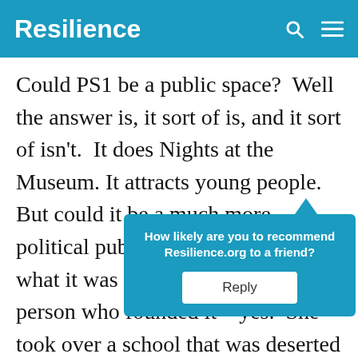Resilience
Could PS1 be a public space?  Well the answer is, it sort of is, and it sort of isn't.  It does Nights at the Museum. It attracts young people.  But could it be a much more political public space – which is what it was set up to be, by the person who founded it – yes.  She took over a school that was deserted and turned it into a free studio space [obscured] then worke[obscured] ery creati[obscured]
How likely are you to recommend Resilience.org to a friend?
Reply